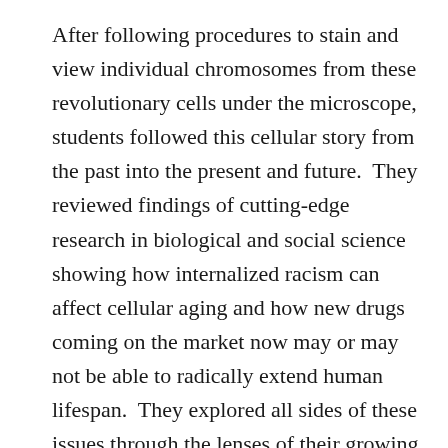After following procedures to stain and view individual chromosomes from these revolutionary cells under the microscope, students followed this cellular story from the past into the present and future.  They reviewed findings of cutting-edge research in biological and social science showing how internalized racism can affect cellular aging and how new drugs coming on the market now may or may not be able to radically extend human lifespan.  They explored all sides of these issues through the lenses of their growing scientific skills and social justice awareness.  The final product of these investigations, presented here, was a series of articles, images, and advertisements for a magazine entirely written, edited, and published by students called Cell Biology & Society: How divisions between people